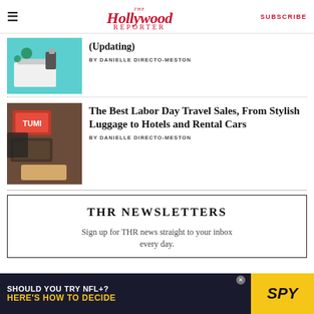The Hollywood Reporter | SUBSCRIBE
[Figure (photo): Outdoor table with teal background, summer items]
(Updating)
BY DANIELLE DIRECTO-MESTON
[Figure (photo): Stack of colorful luggage suitcases]
The Best Labor Day Travel Sales, From Stylish Luggage to Hotels and Rental Cars
BY DANIELLE DIRECTO-MESTON
THR NEWSLETTERS
Sign up for THR news straight to your inbox every day.
[Figure (advertisement): SPY advertisement: Should you try NFL+? Here's how to decide]